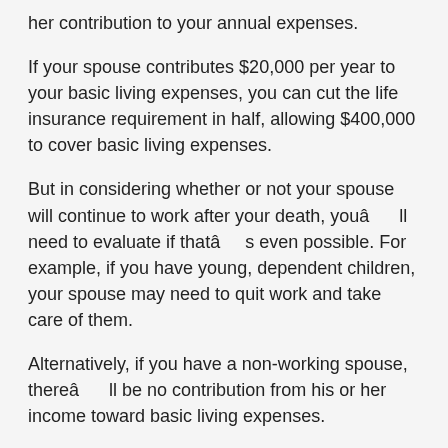her contribution to your annual expenses.
If your spouse contributes $20,000 per year to your basic living expenses, you can cut the life insurance requirement in half, allowing $400,000 to cover basic living expenses.
But in considering whether or not your spouse will continue to work after your death, youâll need to evaluate if thatâs even possible. For example, if you have young, dependent children, your spouse may need to quit work and take care of them.
Alternatively, if you have a non-working spouse, thereâll be no contribution from his or her income toward basic living expenses.
In either case, your need to cover basic living